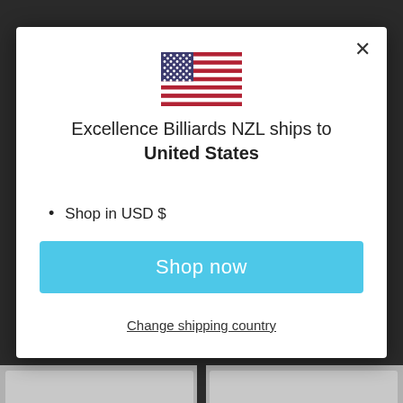[Figure (screenshot): Website modal dialog showing a US flag and shipping information for Excellence Billiards NZL]
Excellence Billiards NZL ships to United States
Shop in USD $
Get shipping options for United States
Shop now
Change shipping country